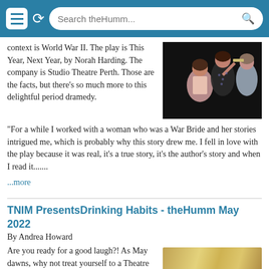Search theHumm...
context is World War II. The play is This Year, Next Year, by Norah Harding. The company is Studio Theatre Perth. Those are the facts, but there's so much more to this delightful period dramedy.
[Figure (photo): Three women in period costumes on a dark stage, one seated and two standing]
"For a while I worked with a woman who was a War Bride and her stories intrigued me, which is probably why this story drew me. I fell in love with the play because it was real, it's a true story, it's the author's story and when I read it.......
...more
TNIM PresentsDrinking Habits - theHumm May 2022
By Andrea Howard
Are you ready for a good laugh?! As May dawns, why not treat yourself to a Theatre Night in Merrickville! TNIM's first spring production in two years will be a knee-slapper — sure to be the tonic we all need. Drinking Habits by Tom Smith, runs May 5–8, Thursday, Friday and
[Figure (photo): Gold/yellow decorative bar or prop element]